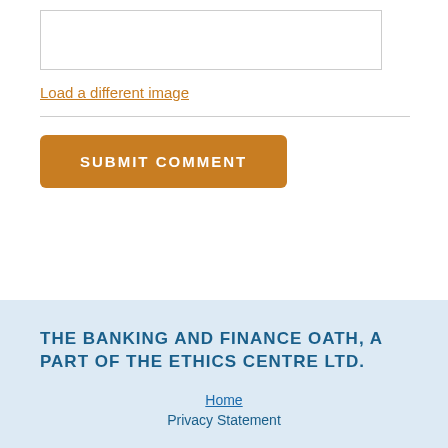[Figure (other): Empty image input box with border]
Load a different image
SUBMIT COMMENT
THE BANKING AND FINANCE OATH, A PART OF THE ETHICS CENTRE LTD.
Home
Privacy Statement